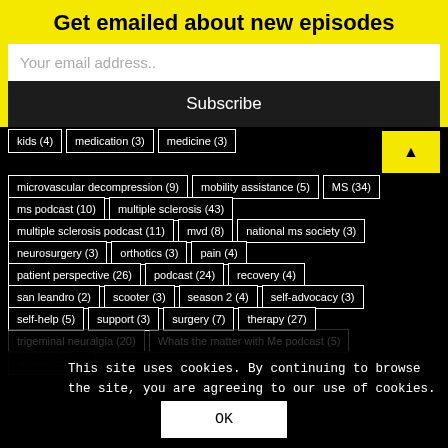Get emailed about new episodes
Your email address..
Subscribe
kids (4)
medication (3)
medicine (3)
microvascular decompression (9)
mobility assistance (5)
MS (34)
ms podcast (10)
multiple sclerosis (43)
multiple sclerosis podcast (11)
mvd (8)
national ms society (3)
neurosurgery (3)
orthotics (3)
pain (4)
patient perspective (26)
podcast (24)
recovery (4)
san leandro (2)
scooter (3)
season 2 (4)
self-advocacy (3)
self-help (5)
support (3)
surgery (7)
therapy (27)
trigeminal neuralgia (20)
Whats the matter with Me podcast (5)
wheelchair (7)
This site uses cookies. By continuing to browse the site, you are agreeing to our use of cookies.
OK